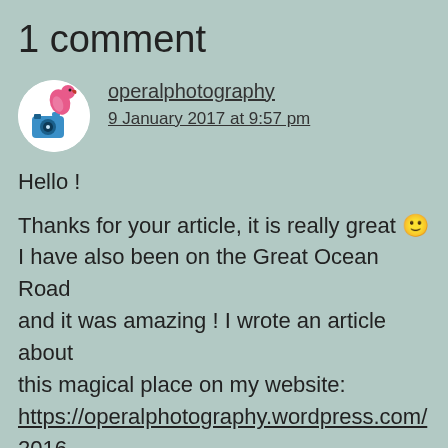1 comment
[Figure (illustration): Circular avatar icon showing a pink flamingo/bird and a blue camera on white background]
operalphotography
9 January 2017 at 9:57 pm
Hello !

Thanks for your article, it is really great 🙂 I have also been on the Great Ocean Road and it was amazing ! I wrote an article about this magical place on my website: https://operalphotography.wordpress.com/2016/12/07/great-ocean-road/